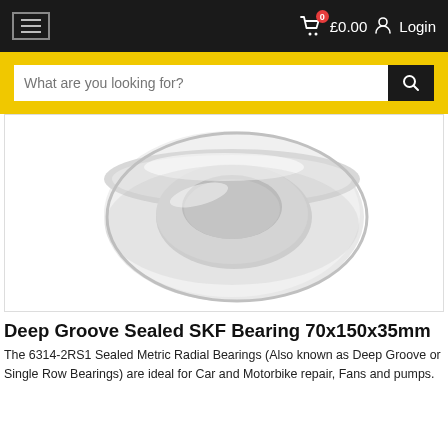Navigation bar with hamburger menu, cart icon showing 0 items and £0.00, and Login link
[Figure (screenshot): Search input bar with placeholder text 'What are you looking for?' and a black search button with magnifying glass icon on a yellow background]
[Figure (photo): Close-up photo of a Deep Groove Sealed SKF Bearing 70x150x35mm, showing the sealed ring bearing from an angled top-down perspective against a white background]
Deep Groove Sealed SKF Bearing 70x150x35mm
The 6314-2RS1 Sealed Metric Radial Bearings (Also known as Deep Groove or Single Row Bearings) are ideal for Car and Motorbike repair, Fans and pumps.